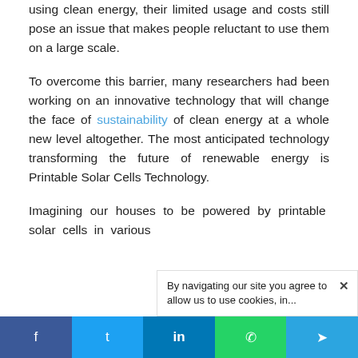using clean energy, their limited usage and costs still pose an issue that makes people reluctant to use them on a large scale.
To overcome this barrier, many researchers had been working on an innovative technology that will change the face of sustainability of clean energy at a whole new level altogether. The most anticipated technology transforming the future of renewable energy is Printable Solar Cells Technology.
Imagining our houses to be powered by printable solar cells in various...
By navigating our site you agree to allow us to use cookies, in...